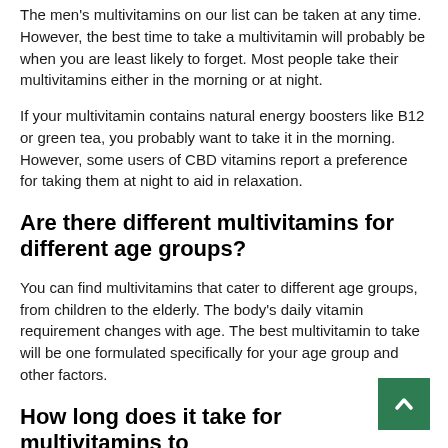The men's multivitamins on our list can be taken at any time. However, the best time to take a multivitamin will probably be when you are least likely to forget. Most people take their multivitamins either in the morning or at night.
If your multivitamin contains natural energy boosters like B12 or green tea, you probably want to take it in the morning. However, some users of CBD vitamins report a preference for taking them at night to aid in relaxation.
Are there different multivitamins for different age groups?
You can find multivitamins that cater to different age groups, from children to the elderly. The body's daily vitamin requirement changes with age. The best multivitamin to take will be one formulated specifically for your age group and other factors.
How long does it take for multivitamins to